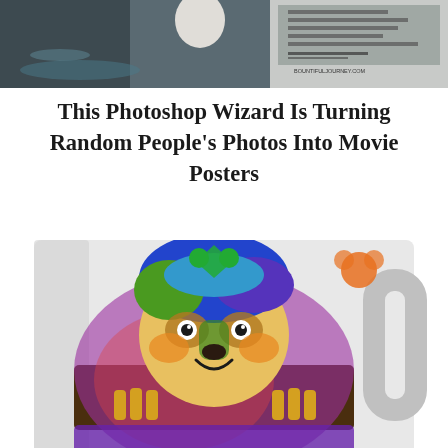[Figure (photo): Top cropped image showing a scene near water with a movie poster overlay on the right side, text partially visible including 'BOUNTIFULJOURNEY.COM']
This Photoshop Wizard Is Turning Random People's Photos Into Movie Posters
[Figure (photo): Colorful illustrated sloth artwork on a glass mug, featuring vibrant blue, green, yellow, and purple colors, with the sloth hugging the mug.]
Spread Love, Joy and Beauty:
[Figure (screenshot): Advertisement banner with a black circle logo with infinity-like symbol, a checkmark and 'In-store shopping' text, and a blue diamond navigation icon on the right. Bottom left shows play and close controls.]